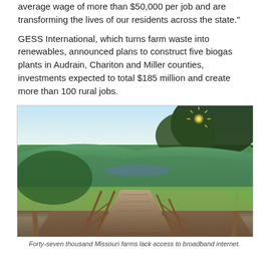average wage of more than $50,000 per job and are transforming the lives of our residents across the state."
GESS International, which turns farm waste into renewables, announced plans to construct five biogas plants in Audrain, Chariton and Miller counties, investments expected to total $185 million and create more than 100 rural jobs.
[Figure (photo): A wooden boardwalk trail leading into the distance, flanked by wooden rail fences, overlooking rolling green hills, a river valley, and trees with sunburst through the canopy at dusk.]
Forty-seven thousand Missouri farms lack access to broadband internet.